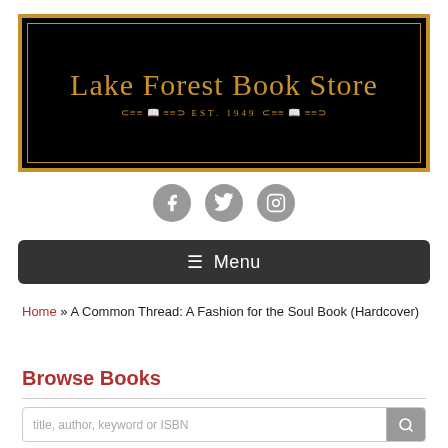[Figure (logo): Lake Forest Book Store logo with gold text on black background, gold double border, and 'EST. 1949' text with decorative book ornaments]
[Figure (infographic): Three social media icons (Facebook, Twitter, Instagram) in gray circles]
≡ Menu
Home » A Common Thread: A Fashion for the Soul Book (Hardcover)
Browse Books
title, author, keyword or ISBN